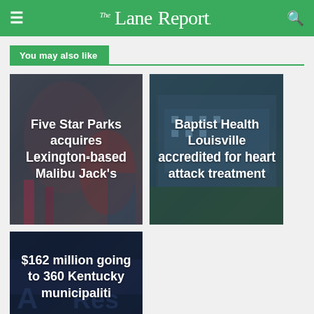The Lane Report
You may also like
[Figure (photo): Carnival/amusement park scene with colorful rides and lights, dark overlay with white bold text]
Five Star Parks acquires Lexington-based Malibu Jack's
[Figure (photo): Modern hospital building exterior with blue sky, dark overlay with white bold text]
Baptist Health Louisville accredited for heart attack treatment
[Figure (photo): ARC (American Rescue) themed background, dark overlay with white bold text, partially cut off]
$162 million going to 360 Kentucky municipaliti